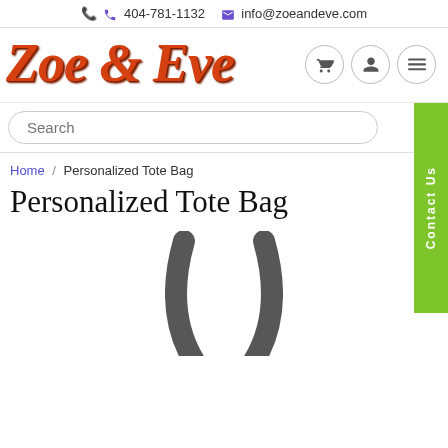404-781-1132  info@zoeandeve.com
[Figure (logo): Zoe & Eve cursive script logo in red/orange with dark shadow, followed by three circular nav icon buttons (cart, user, menu)]
Search
Contact Us
Home / Personalized Tote Bag
Personalized Tote Bag
[Figure (photo): Partial view of a black tote bag showing the handles against a white background, image is cropped at the bottom of the page]